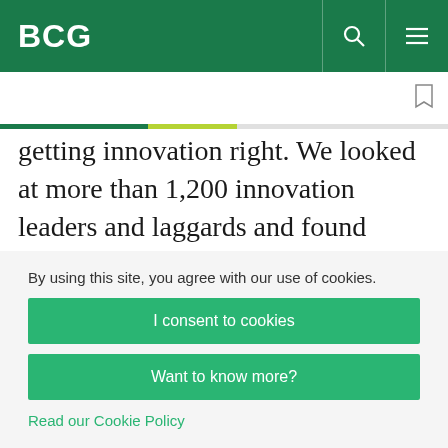BCG
getting innovation right. We looked at more than 1,200 innovation leaders and laggards and found robust quantitative evidence that innovation performance fundamentally comes down to getting five factors right: an inspiring ambition with
By using this site, you agree with our use of cookies.
I consent to cookies
Want to know more?
Read our Cookie Policy